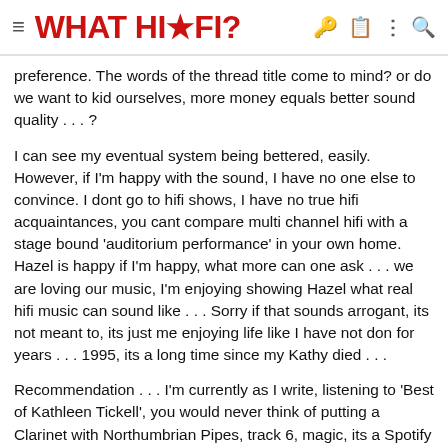WHAT HI-FI?
preference. The words of the thread title come to mind? or do we want to kid ourselves, more money equals better sound quality . . . ?
I can see my eventual system being bettered, easily. However, if I'm happy with the sound, I have no one else to convince. I dont go to hifi shows, I have no true hifi acquaintances, you cant compare multi channel hifi with a stage bound 'auditorium performance' in your own home. Hazel is happy if I'm happy, what more can one ask . . . we are loving our music, I'm enjoying showing Hazel what real hifi music can sound like . . . Sorry if that sounds arrogant, its not meant to, its just me enjoying life like I have not don for years . . . 1995, its a long time since my Kathy died . . .
Recommendation . . . I'm currently as I write, listening to 'Best of Kathleen Tickell', you would never think of putting a Clarinet with Northumbrian Pipes, track 6, magic, its a Spotify stream, but I will be looking for the album . . .